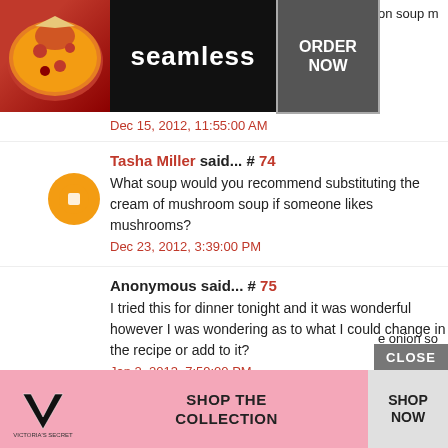[Figure (screenshot): Seamless food delivery advertisement banner with pizza image, Seamless logo, and ORDER NOW button]
Dec 15, 2012, 11:55:00 AM
Tasha Miller said... # 74
What soup would you recommend substituting the cream of mushroom soup if someone doesn't like mushrooms?
Dec 23, 2012, 3:39:00 PM
Anonymous said... # 75
I tried this for dinner tonight and it was wonderful however I was wondering as to what I could change in the recipe or add to it?
Jan 2, 2013, 7:59:00 PM
Tina Butler said... # 76
[Figure (screenshot): Victoria's Secret advertisement banner with model, VS logo, SHOP THE COLLECTION text, and SHOP NOW button]
CLOSE